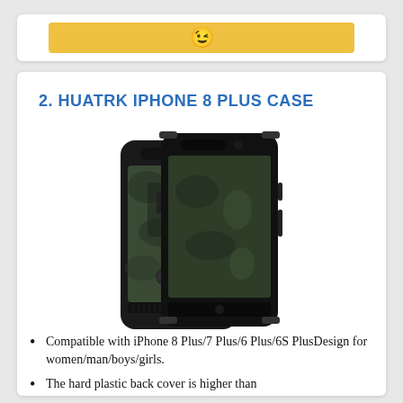[Figure (other): Amazon buy button with smile logo at top of page]
2. HUATRK IPHONE 8 PLUS CASE
[Figure (photo): Photo of a black rugged iPhone 8 Plus case with camouflage pattern and kickstand, shown from front and back]
Compatible with iPhone 8 Plus/7 Plus/6 Plus/6S PlusDesign for women/man/boys/girls.
The hard plastic back cover is higher than